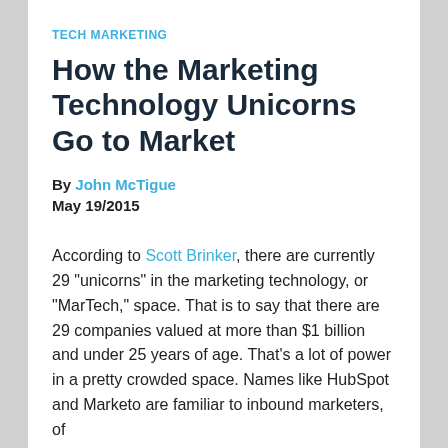TECH MARKETING
How the Marketing Technology Unicorns Go to Market
By John McTigue
May 19/2015
According to Scott Brinker, there are currently 29 "unicorns" in the marketing technology, or "MarTech," space. That is to say that there are 29 companies valued at more than $1 billion and under 25 years of age. That's a lot of power in a pretty crowded space. Names like HubSpot and Marketo are familiar to inbound marketers, of